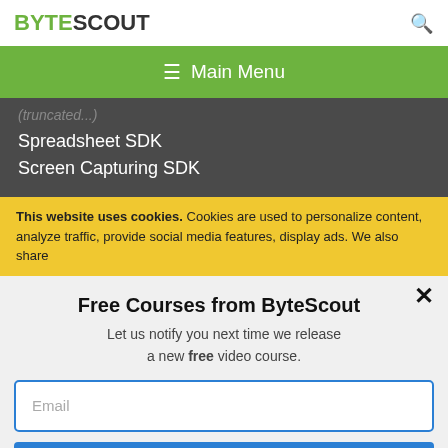BYTESCOUT
≡  Main Menu
Spreadsheet SDK
Screen Capturing SDK
This website uses cookies. Cookies are used to personalize content, analyze traffic, provide social media features, display ads. We also share
Free Courses from ByteScout
Let us notify you next time we release a new free video course.
Email
SUBSCRIBE